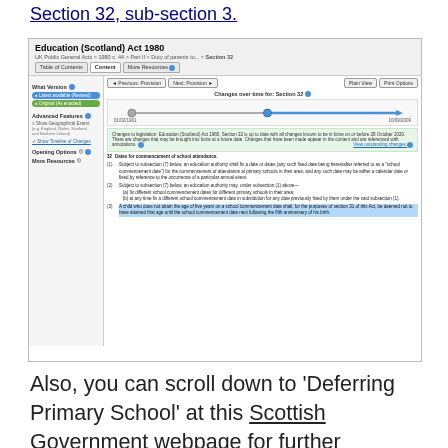Section 32, sub-section 3.
[Figure (screenshot): Screenshot of legislation.gov.uk showing Education (Scotland) Act 1980, Section 32 with timeline of changes and legal text for sub-sections (1), (2), and (3).]
Also, you can scroll down to ‘Deferring Primary School’ at this Scottish Government webpage for further confirmation on this legal right.